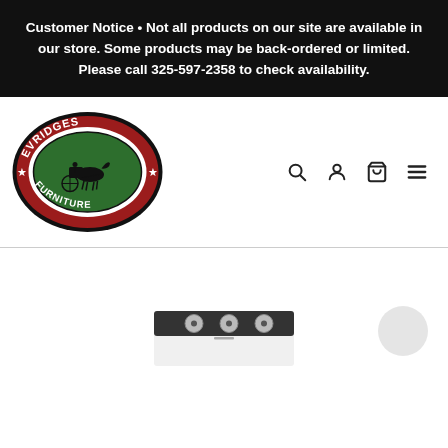Customer Notice • Not all products on our site are available in our store. Some products may be back-ordered or limited. Please call 325-597-2358 to check availability.
[Figure (logo): Evridges Furniture oval logo with red border, green center, horse and carriage silhouette, stars on sides]
[Figure (screenshot): Bottom portion of a washing machine with dark control panel showing three knobs]